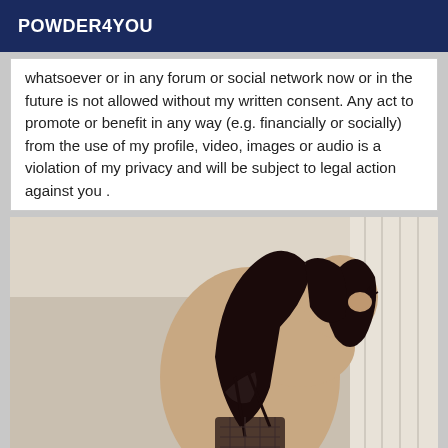POWDER4YOU
whatsoever or in any forum or social network now or in the future is not allowed without my written consent. Any act to promote or benefit in any way (e.g. financially or socially) from the use of my profile, video, images or audio is a violation of my privacy and will be subject to legal action against you .
[Figure (photo): A young woman with long dark hair looking back over her shoulder, wearing dark lingerie, in a room with white curtains in the background.]